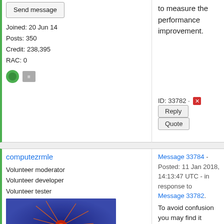Send message
Joined: 20 Jun 14
Posts: 350
Credit: 238,395
RAC: 0
to measure the performance improvement.
ID: 33782 · Reply Quote
computezrmle
Volunteer moderator
Volunteer developer
Volunteer tester
Message 33784 - Posted: 11 Jan 2018, 14:13:47 UTC - in response to Message 33782.
To avoid confusion you may find it useful to know what I mean when I write "cmsRun is completely set up".
It's the moment when the download of
http://cmsfrontier.cern.ch:8000/FrontierProd/Frontier/type=frontier_request:1:DEFAULT&encoding=BLOBzip5&p1=eNptiz0KgDAMRq8ScgBx6OogyWcVrCltQZ1y-1tYcXV9PxU7pBFrjgrPEZYUrTItxRKxpOpih3oIl78Srdw8sJXZ5cs72aQ-TP-0XFFAvClPND6pWB3l
Send message
Joined: 15 Jun 08
Posts: 2035
Credit: 150,661,234
RAC: 105,355